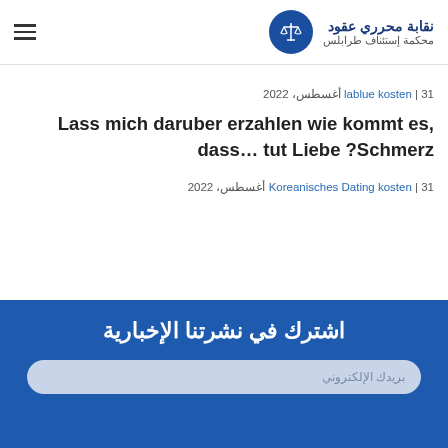نقابة محرري عقود | محكمة إستئناف طرابلس
31 أغسطس، 2022 | lablue kosten
Lass mich daruber erzahlen wie kommt es, dass… tut Liebe ?Schmerz
31 أغسطس، 2022 | Koreanisches Dating kosten
اشترك في نشرتنا الإخبارية